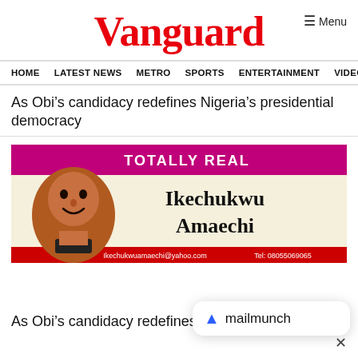Vanguard
HOME  LATEST NEWS  METRO  SPORTS  ENTERTAINMENT  VIDEOS
As Obi’s candidacy redefines Nigeria’s presidential democracy
[Figure (illustration): Banner image for Ikechukwu Amaechi's column titled 'Totally Real' on magenta/pink background with cartoon portrait, email Ikechukwuamaechi@yahoo.com, Tel: 08055069065]
As Obi’s candidacy redefines Nigeria’s presidential...